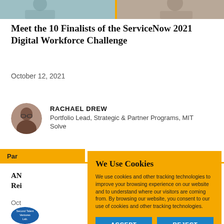[Figure (photo): Top banner with two cropped photos split by a gold divider — left side shows a blurred person, right side shows another person]
Meet the 10 Finalists of the ServiceNow 2021 Digital Workforce Challenge
October 12, 2021
RACHAEL DREW
Portfolio Lead, Strategic & Partner Programs, MIT Solve
Par
AN
Rei
Oct
[Figure (logo): Small circular blue logo for Second Talent Ventures Lab]
We Use Cookies
We use cookies and other tracking technologies to improve your browsing experience on our website and to understand where our visitors are coming from. By browsing our website, you consent to our use of cookies and other tracking technologies.
ACCEPT
REJECT